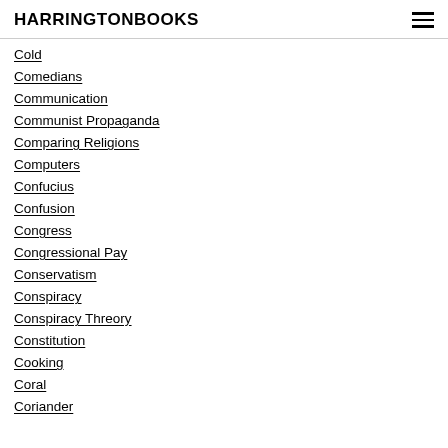HARRINGTONBOOKS
Cold
Comedians
Communication
Communist Propaganda
Comparing Religions
Computers
Confucius
Confusion
Congress
Congressional Pay
Conservatism
Conspiracy
Conspiracy Threory
Constitution
Cooking
Coral
Coriander